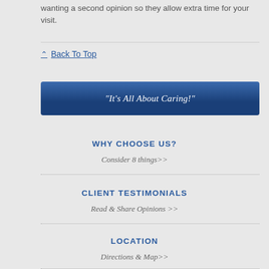wanting a second opinion so they allow extra time for your visit.
Back To Top
“It’s All About Caring!”
WHY CHOOSE US?
Consider 8 things>>
CLIENT TESTIMONIALS
Read & Share Opinions >>
LOCATION
Directions & Map>>